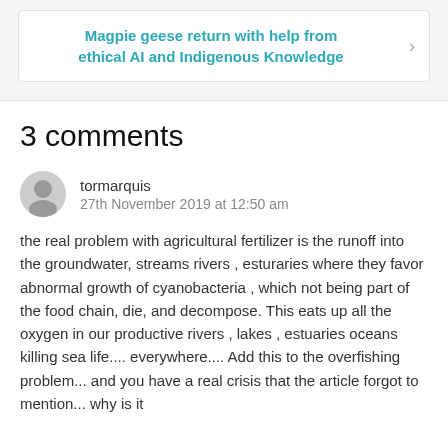[Figure (screenshot): Navigation box with teal text reading 'Magpie geese return with help from ethical AI and Indigenous Knowledge' and a right-arrow chevron on the right side]
3 comments
tormarquis
27th November 2019 at 12:50 am
the real problem with agricultural fertilizer is the runoff into the groundwater, streams rivers , esturaries where they favor abnormal growth of cyanobacteria , which not being part of the food chain, die, and decompose. This eats up all the oxygen in our productive rivers , lakes , estuaries oceans killing sea life.... everywhere.... Add this to the overfishing problem... and you have a real crisis that the article forgot to mention... why is it